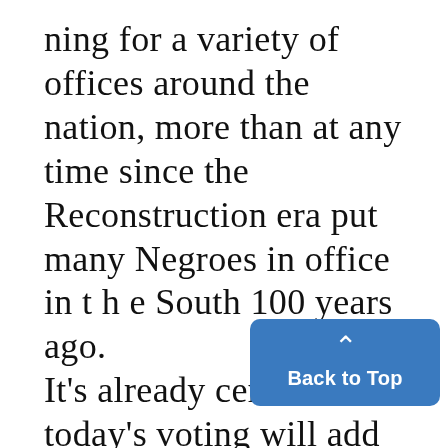ning for a variety of offices around the nation, more than at any time since the Reconstruction era put many Negroes in office in t h e South 100 years ago. It's already certain that today's voting will add three new Negro faces to the House of Representa- tives, for a total of nine. The overwhelming bulk, how- ever, are running for state offices - mostly legislatures - and local posts. Negro leaders hope for a record turnout to bolster their
[Figure (other): Blue 'Back to Top' button with upward arrow chevron, positioned in the lower right corner]